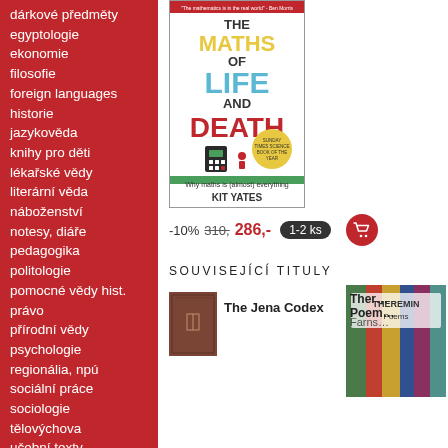dárkové předměty
egyptologie
ekonomie
filosofie
foreign languages
historie
jazykověda
knihy pro děti
lékařské vědy
literární věda
náboženství
notesy, diáře
pedagogika
politologie
pomocné vědy hist.
právo
přírodní vědy
psychologie
regionália, npú
sociální práce
sociologie
tělovýchova
učební texty
[Figure (photo): Book cover: The Maths of Life and Death by Kit Yates. Title text in colorful block letters. Subtitle: Why maths is (almost) everything.]
-10%  310,-  286,-  1-2 ks
SOUVISEJÍCÍ TITULY
[Figure (photo): Book cover thumbnail: The Jena Codex - small dark brown book]
The Jena Codex
[Figure (photo): Book cover thumbnail: Theremin Poems by Farns... - colorful cover]